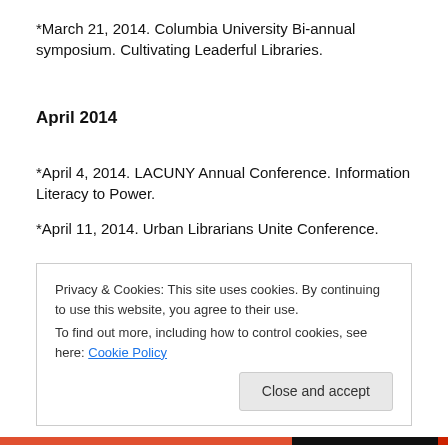*March 21, 2014. Columbia University Bi-annual symposium. Cultivating Leaderful Libraries.
April 2014
*April 4, 2014. LACUNY Annual Conference. Information Literacy to Power.
*April 11, 2014. Urban Librarians Unite Conference.
Privacy & Cookies: This site uses cookies. By continuing to use this website, you agree to their use.
To find out more, including how to control cookies, see here: Cookie Policy